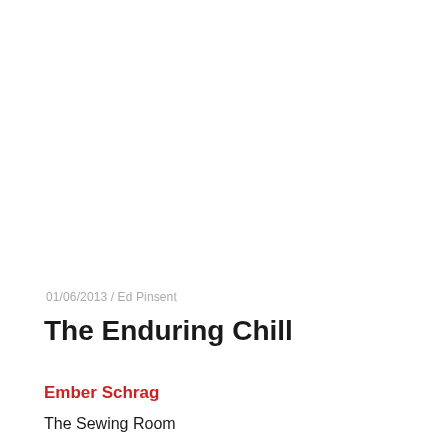01/06/2013  /  Ed Pinsent
The Enduring Chill
Ember Schrag
The Sewing Room